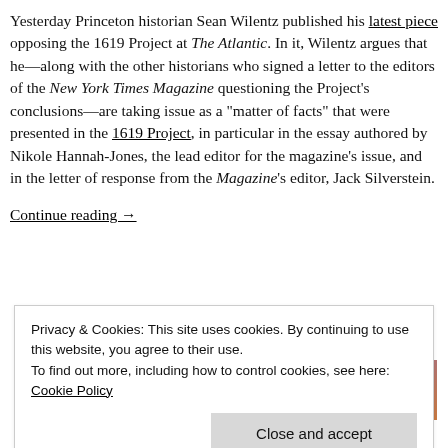Yesterday Princeton historian Sean Wilentz published his latest piece opposing the 1619 Project at The Atlantic. In it, Wilentz argues that he—along with the other historians who signed a letter to the editors of the New York Times Magazine questioning the Project's conclusions—are taking issue as a "matter of facts" that were presented in the 1619 Project, in particular in the essay authored by Nikole Hannah-Jones, the lead editor for the magazine's issue, and in the letter of response from the Magazine's editor, Jack Silverstein.
Continue reading →
Advertisements
[Figure (other): Advertisement banner with gradient blue-purple-orange background and text 'Simplified pricing for']
Privacy & Cookies: This site uses cookies. By continuing to use this website, you agree to their use.
To find out more, including how to control cookies, see here: Cookie Policy
Close and accept